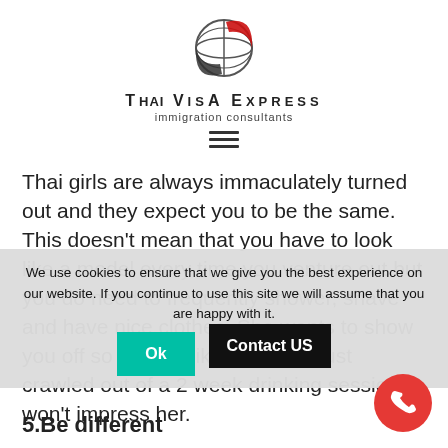[Figure (logo): Thai Visa Express logo: globe with red swoosh, text 'THAI VISA EXPRESS' and 'immigration consultants']
Thai girls are always immaculately turned out and they expect you to be the same. This doesn't mean that you have to look like a model every time you venture out but you do need to frequently shower, shave and have nice clothes. She wants to show you off so looking like you have just crawled out of a 2 week drinking session won't impress her.
We use cookies to ensure that we give you the best experience on our website. If you continue to use this site we will assume that you are happy with it.
5.Be different